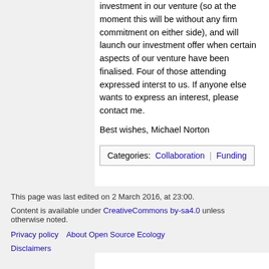investment in our venture (so at the moment this will be without any firm commitment on either side), and will launch our investment offer when certain aspects of our venture have been finalised. Four of those attending expressed interst to us. If anyone else wants to express an interest, please contact me.
Best wishes, Michael Norton
Categories: Collaboration | Funding
This page was last edited on 2 March 2016, at 23:00.
Content is available under CreativeCommons by-sa4.0 unless otherwise noted.
Privacy policy   About Open Source Ecology
Disclaimers